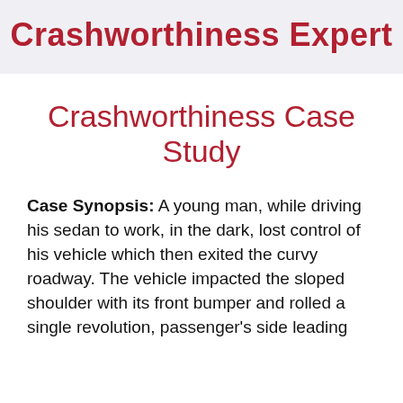Crashworthiness Expert
Crashworthiness Case Study
Case Synopsis: A young man, while driving his sedan to work, in the dark, lost control of his vehicle which then exited the curvy roadway. The vehicle impacted the sloped shoulder with its front bumper and rolled a single revolution, passenger's side leading